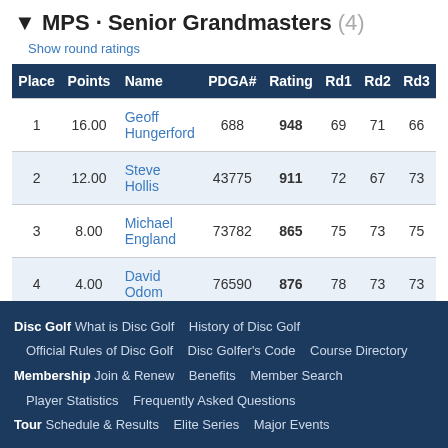▼ MPS · Senior Grandmasters (4)
Show round ratings
| Place | Points | Name | PDGA# | Rating | Rd1 | Rd2 | Rd3 |
| --- | --- | --- | --- | --- | --- | --- | --- |
| 1 | 16.00 | Geoff Hungerford | 688 | 948 | 69 | 71 | 66 |
| 2 | 12.00 | Steve Hollis | 43775 | 911 | 72 | 67 | 73 |
| 3 | 8.00 | Michael England | 73782 | 865 | 75 | 73 | 75 |
| 4 | 4.00 | David Odom | 76590 | 876 | 78 | 73 | 73 |
Disc Golf  What is Disc Golf  History of Disc Golf  Official Rules of Disc Golf  Disc Golfer's Code  Course Directory  Membership  Join & Renew  Benefits  Member Search  Player Statistics  Frequently Asked Questions  Tour  Schedule & Results  Elite Series  Major Events